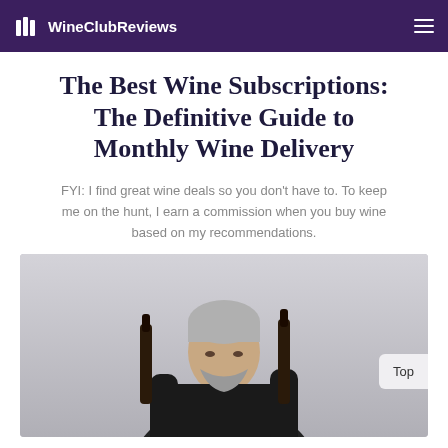WineClubReviews
The Best Wine Subscriptions: The Definitive Guide to Monthly Wine Delivery
FYI: I find great wine deals so you don't have to. To keep me on the hunt, I earn a commission when you buy wine based on my recommendations.
[Figure (photo): Middle-aged man with grey hair wearing a black chef's jacket, holding two wine bottles, examining them against a light grey background]